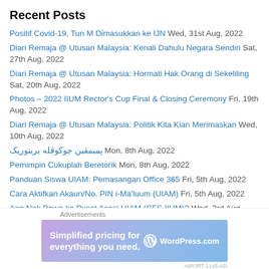Recent Posts
Positif Covid-19, Tun M Dimasukkan ke IJN Wed, 31st Aug, 2022
Diari Remaja @ Utusan Malaysia: Kenali Dahulu Negara Sendiri Sat, 27th Aug, 2022
Diari Remaja @ Utusan Malaysia: Hormati Hak Orang di Sekeliling Sat, 20th Aug, 2022
Photos – 2022 IIUM Rector's Cup Final & Closing Ceremony Fri, 19th Aug, 2022
Diari Remaja @ Utusan Malaysia: Politik Kita Kian Merimaskan Wed, 10th Aug, 2022
پمیمڤین جوکوڤله برینوریک Mon, 8th Aug, 2022
Pemimpin Cukuplah Beretorik Mon, 8th Aug, 2022
Panduan Siswa UIAM: Pemasangan Office 365 Fri, 5th Aug, 2022
Cara Aktifkan Akaun/No. PIN i-Ma'luum (UIAM) Fri, 5th Aug, 2022
Apa Nak Bawa ke Pusat Asasi UIAM (CFS IIUM)? Wed, 3rd Aug, 2022
[Figure (screenshot): WordPress.com advertisement banner with text 'Simplified pricing for everything you need.']